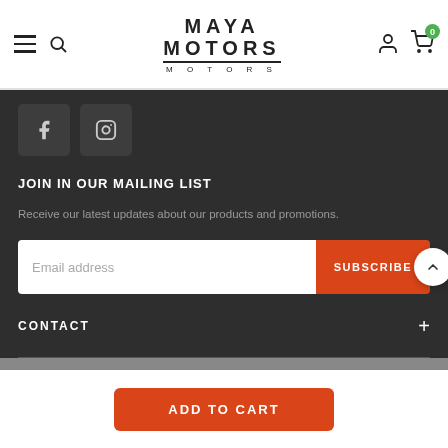[Figure (logo): Maya Motors logo with stylized text and underline, shopping cart with 0 badge, user icon, hamburger menu, and search icon in white header navigation bar]
[Figure (other): Facebook and Instagram social media icon buttons, dark square buttons with icons]
JOIN IN OUR MAILING LIST
Receive our latest updates about our products and promotions.
[Figure (other): Email address input field with Subscribe button in orange/red color, and a white circular scroll-to-top button with upward chevron]
CONTACT
[Figure (other): Add to Cart orange button at bottom of page]